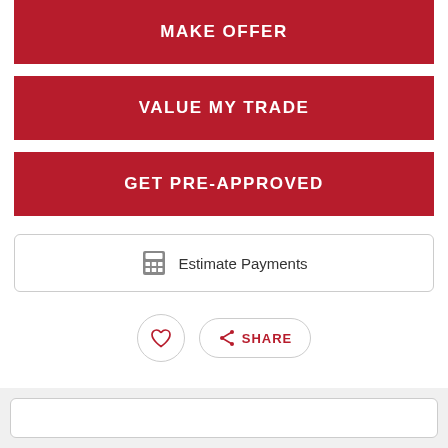MAKE OFFER
VALUE MY TRADE
GET PRE-APPROVED
Estimate Payments
SHARE
OUTLAW GREY